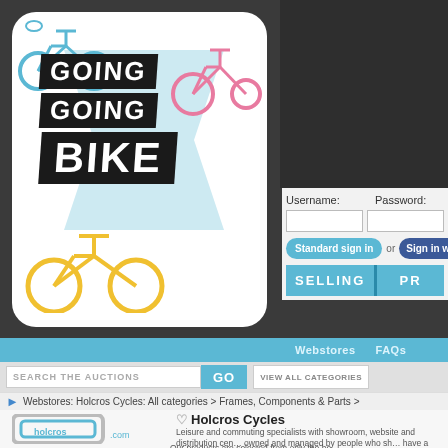[Figure (logo): Going Going Bike logo on white rounded rectangle background with colorful bicycle illustrations]
[Figure (screenshot): Login form with Username and Password fields, Standard sign in button, Sign in with Facebook button, SELLING and PR navigation buttons]
Webstores   FAQs
SEARCH THE AUCTIONS   GO   VIEW ALL CATEGORIES
Webstores: Holcros Cycles: All categories > Frames, Components & Parts >
[Figure (logo): Holcros.com logo - grey and cyan rectangular frame with holcros text]
♡ Holcros Cycles
Leisure and commuting specialists with showroom, website and distribution centre owned and managed by people who share a desire to run and manage a successful bicycle business.
Our products are selected from only the best